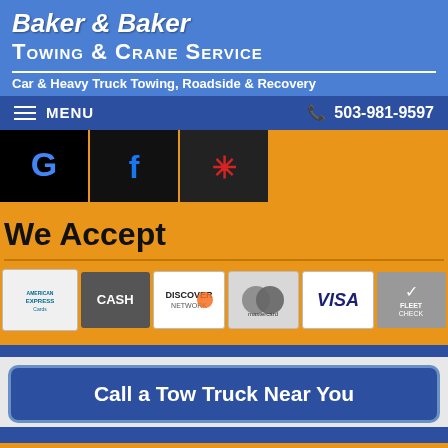Baker & Baker Towing & Crane Service
Car & Heavy Truck Towing, Roadside & Recovery
MENU  503-981-9597
[Figure (logo): Social media icons row: Google (G), Facebook (f), Yelp (asterisk/flower icon)]
We Accept
[Figure (infographic): Payment method logos: American Express Cards, Cash, Discover Network, Mastercard, Visa, Fleet Check]
Call a Tow Truck Near You